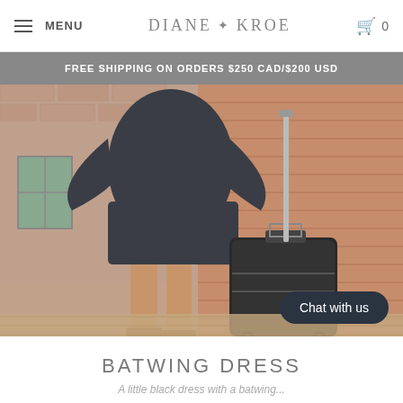MENU  DIANE KROE  0
FREE SHIPPING ON ORDERS $250 CAD/$200 USD
[Figure (photo): A woman wearing a dark charcoal batwing dress, standing outdoors on a brick sidewalk next to a black wheeled carry-on suitcase with an extended handle. Brick building in background.]
Chat with us
BATWING DRESS
A little black dress with a batwing...